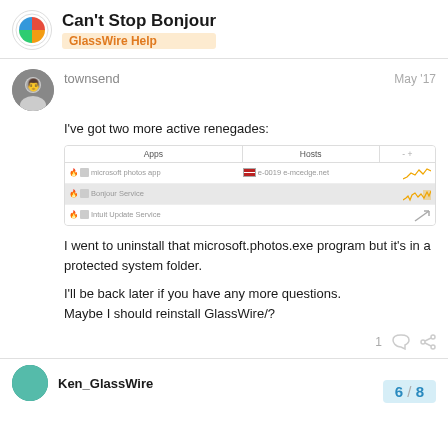Can't Stop Bonjour — GlassWire Help
townsend — May '17
I've got two more active renegades:
[Figure (screenshot): GlassWire app list screenshot showing three rows: microsoft photos app (e-0019 e-mcedge.net), Bonjour Service, and Intuit Update Service, with flame icons and traffic graphs]
I went to uninstall that microsoft.photos.exe program but it's in a protected system folder.
I'll be back later if you have any more questions.
Maybe I should reinstall GlassWire/?
1
Ken_GlassWire
6 / 8